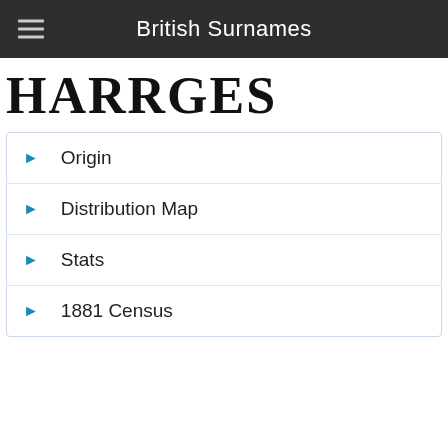British Surnames
HARRGES
Origin
Distribution Map
Stats
1881 Census